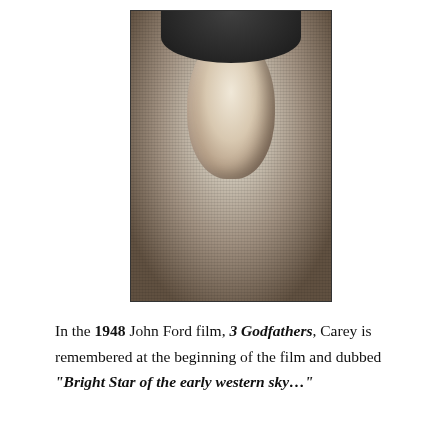[Figure (photo): Black and white photograph of a man wearing a cowboy hat and western-style clothing with a bandana or neckerchief, looking slightly to one side. The photo has a halftone/printed quality.]
In the 1948 John Ford film, 3 Godfathers, Carey is remembered at the beginning of the film and dubbed "Bright Star of the early western sky..."